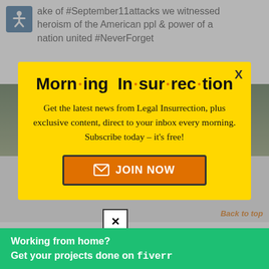ake of #September11attacks we witnessed heroism of the American ppl & power of a nation united #NeverForget
[Figure (photo): Background image with NEVER FORGET text partially visible behind modal]
[Figure (infographic): Modal popup with yellow background - Morning Insurrection newsletter signup]
I have photo majority won't be sued, but selective targets might
[Figure (infographic): Fiverr advertisement banner - Working from home? Get your projects done on fiverr]